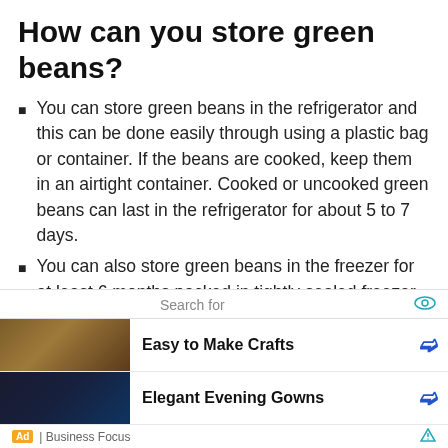How can you store green beans?
You can store green beans in the refrigerator and this can be done easily through using a plastic bag or container. If the beans are cooked, keep them in an airtight container. Cooked or uncooked green beans can last in the refrigerator for about 5 to 7 days.
You can also store green beans in the freezer for at least 6 months packed in tightly sealed freezer bags.
What are the signs of spoiled or
[Figure (other): Advertisement block with search bar showing 'Search for', two sponsored result rows: 'Easy to Make Crafts' and 'Elegant Evening Gowns', with 'Ad | Business Focus' footer]